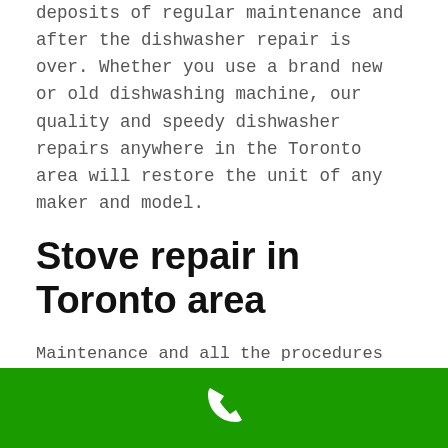deposits of regular maintenance and after the dishwasher repair is over. Whether you use a brand new or old dishwashing machine, our quality and speedy dishwasher repairs anywhere in the Toronto area will restore the unit of any maker and model.
Stove repair in Toronto area
Maintenance and all the procedures for stove repair in Toronto offered by our reputable Toronto appliance repair company are equally available all over Ontario at completely affordable low prices. Apart from that, we also share many special offers and discounts, which make us one of the most budget-friendly appliance repair service in Toronto.
Moreover, to get reliable stove repairs in the Toronto
[Figure (other): Green footer bar with white phone icon in the center]